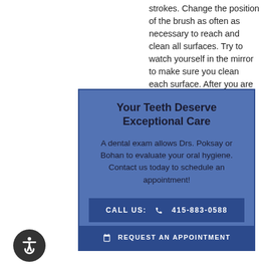strokes. Change the position of the brush as often as necessary to reach and clean all surfaces. Try to watch yourself in the mirror to make sure you clean each surface. After you are done, rinse vigorously to remove any plaque you might have loosened while brushing.
Your Teeth Deserve Exceptional Care
A dental exam allows Drs. Poksay or Bohan to evaluate your oral hygiene. Contact us today to schedule an appointment!
CALL US: 415-883-0588
REQUEST AN APPOINTMENT